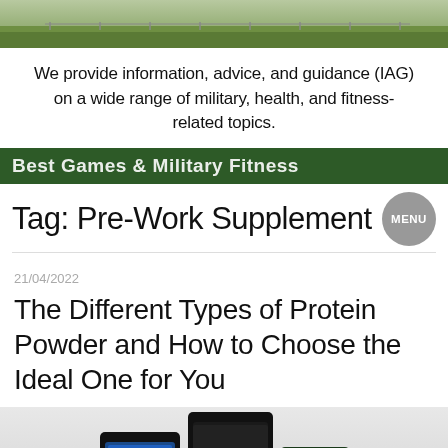[Figure (photo): Outdoor military or fitness field scene, green landscape with figures]
We provide information, advice, and guidance (IAG) on a wide range of military, health, and fitness-related topics.
Best Games & Military Fitness
Tag: Pre-Work Supplement
21/04/2022
The Different Types of Protein Powder and How to Choose the Ideal One for You
[Figure (photo): Multiple protein powder supplement containers including Dymatize BCAA and Gold Standard]